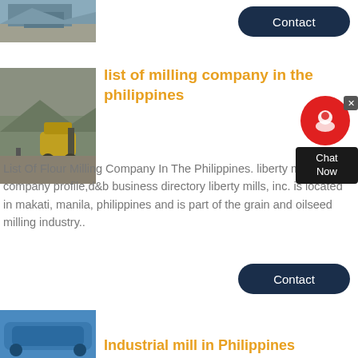[Figure (photo): Mining/crushing site with machinery and gravel piles at top]
Contact
[Figure (photo): Mining quarry site with excavator and rock face]
list of milling company in the philippines
[Figure (illustration): Chat Now support widget with red circle icon and dark chat box]
List Of Flour Milling Company In The Philippines. liberty mills, inc. company profile,d&b business directory liberty mills, inc. is located in makati, manila, philippines and is part of the grain and oilseed milling industry..
Contact
[Figure (photo): Industrial mill equipment in Philippines, blue machinery]
Industrial mill in Philippines